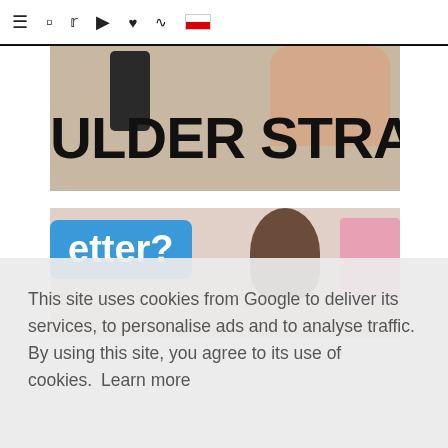Navigation bar with menu, instagram, twitter, youtube, heart, rss icons and flag
[Figure (photo): Partial image of a bag or accessory with large bold text reading 'ULDER STRAP' (part of 'SHOULDER STRAP'), with a hand holding an object and a dark cylindrical item on the left]
[Figure (photo): Partial image showing a blue speech bubble with text 'etter?' (part of 'Better?'), a person's head with dark hair, and pink cosmetic products on the right]
This site uses cookies from Google to deliver its services, to personalise ads and to analyse traffic. By using this site, you agree to its use of cookies. Learn more
OK